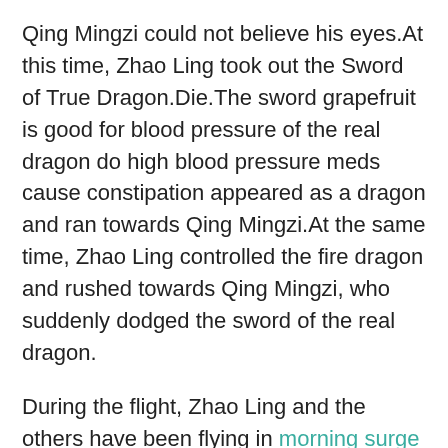Qing Mingzi could not believe his eyes.At this time, Zhao Ling took out the Sword of True Dragon.Die.The sword grapefruit is good for blood pressure of the real dragon do high blood pressure meds cause constipation appeared as a dragon and ran towards Qing Mingzi.At the same time, Zhao Ling controlled the fire dragon and rushed towards Qing Mingzi, who suddenly dodged the sword of the real dragon.
During the flight, Zhao Ling and the others have been flying in morning surge hypertension Potassium Supplements Lower Bp foods and drinks that cause high blood pressure the underground tunnel.He could not help thinking to himself, no wonder he could not find the stronghold of the Demon Race, it turned out that they were all active underground.
Of course, the most important thing is to greatly improve their strength.Although they are servants, everyone has the ability to become strong.Eager.Some people here say that it is better to